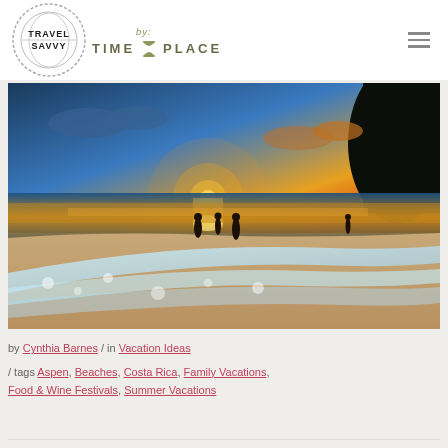Travel Savvy by: TIME & PLACE
[Figure (photo): Tropical beach sunset scene with silhouettes of people wading in the ocean, foam waves on sandy shore, vivid orange and blue sky]
by Cynthia Barnes / in Vacation Ideas
/ tags Aspen, Beaches, Costa Rica, Family Vacations, Food & Wine Festivals, Summer Vacations